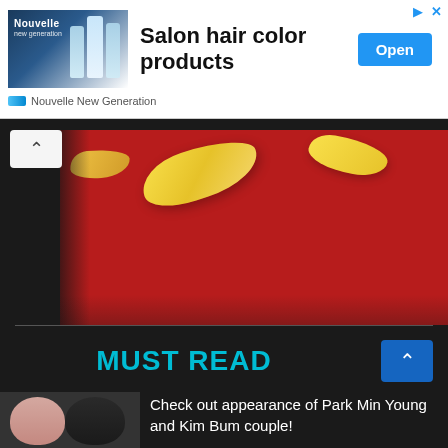[Figure (photo): Advertisement banner for Nouvelle New Generation salon hair color products. Shows product bottles on left, bold text 'Salon hair color products' in center, blue 'Open' button on right, with sponsor name 'Nouvelle New Generation' at bottom. Has navigation icons (arrow and X) in top-right corner.]
[Figure (photo): Food photography image showing potato/tortilla chips falling against a vivid red background. The chips are yellow/golden colored, curved shapes, photographed from above on a deep red surface. Dark edges frame the image.]
MUST READ
Check out appearance of Park Min Young and Kim Bum couple!